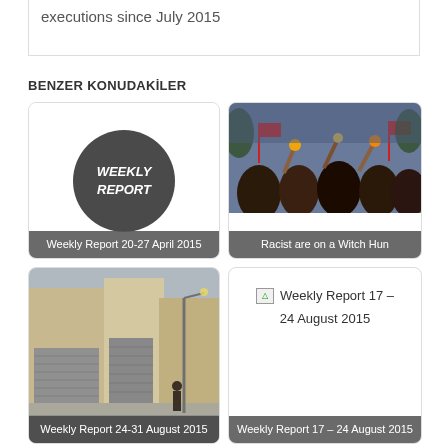executions since July 2015
BENZER KONUDAKİLER
[Figure (illustration): Card with dark circle containing 'WEEKLY REPORT' text, caption: Weekly Report 20-27 April 2015]
[Figure (photo): Crowd photo with torches/flags at night, caption: Racist are on a Witch Hun]
[Figure (photo): Street photo with shuttered shops, caption: Weekly Report 24-31 August 2015]
[Figure (illustration): Broken image placeholder with text: Weekly Report 17 – 24 August 2015, caption: Weekly Report 17 – 24 August 2015]